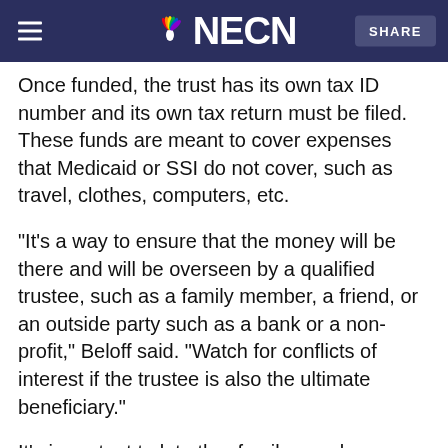NECN
Once funded, the trust has its own tax ID number and its own tax return must be filed. These funds are meant to cover expenses that Medicaid or SSI do not cover, such as travel, clothes, computers, etc.
"It's a way to ensure that the money will be there and will be overseen by a qualified trustee, such as a family member, a friend, or an outside party such as a bank or a non-profit," Beloff said. "Watch for conflicts of interest if the trustee is also the ultimate beneficiary."
It's important to let other family members know they should make any gifts or bequests to the trust so as to avoid negative effects on the special child's eligibility for Medicaid, said attorney Ray Falcon, principal of Falcon Law